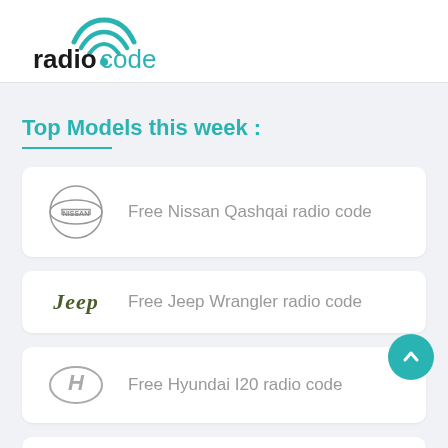[Figure (logo): Radiocode logo with teal wifi signal icon above the text 'radiocode' where 'radio' is in black bold and 'code' is in teal]
Top Models this week :
Free Nissan Qashqai radio code
Free Jeep Wrangler radio code
Free Hyundai I20 radio code
Free Seat Ibiza radio code